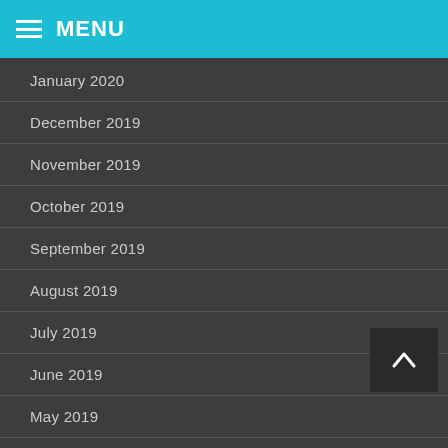MENU
January 2020
December 2019
November 2019
October 2019
September 2019
August 2019
July 2019
June 2019
May 2019
April 2019